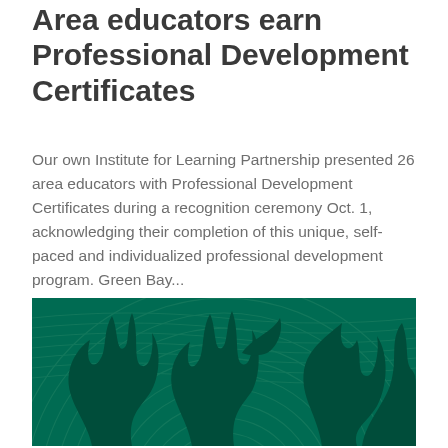Area educators earn Professional Development Certificates
Our own Institute for Learning Partnership presented 26 area educators with Professional Development Certificates during a recognition ceremony Oct. 1, acknowledging their completion of this unique, self-paced and individualized professional development program. Green Bay...
[Figure (illustration): Dark green decorative banner image featuring silhouettes of flame/leaf shapes against a teal background with concentric arc line patterns.]